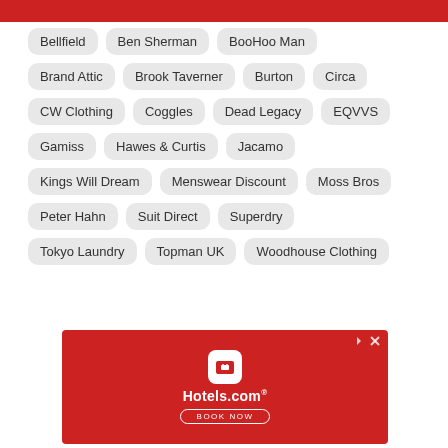Bellfield
Ben Sherman
BooHoo Man
Brand Attic
Brook Taverner
Burton
Circa
CW Clothing
Coggles
Dead Legacy
EQVVS
Gamiss
Hawes & Curtis
Jacamo
Kings Will Dream
Menswear Discount
Moss Bros
Peter Hahn
Suit Direct
Superdry
Tokyo Laundry
Topman UK
Woodhouse Clothing
[Figure (infographic): Hotels.com advertisement banner with red background, Hotels.com logo, hotel icon, and BOOK NOW button]